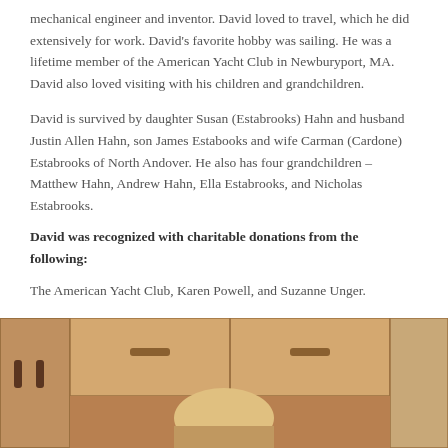mechanical engineer and inventor. David loved to travel, which he did extensively for work. David's favorite hobby was sailing. He was a lifetime member of the American Yacht Club in Newburyport, MA. David also loved visiting with his children and grandchildren.
David is survived by daughter Susan (Estabrooks) Hahn and husband Justin Allen Hahn, son James Estabooks and wife Carman (Cardone) Estabrooks of North Andover. He also has four grandchildren – Matthew Hahn, Andrew Hahn, Ella Estabrooks, and Nicholas Estabrooks.
David was recognized with charitable donations from the following:
The American Yacht Club, Karen Powell, and Suzanne Unger.
[Figure (photo): A photo showing kitchen cabinets in the background with a person visible in the lower portion of the frame.]